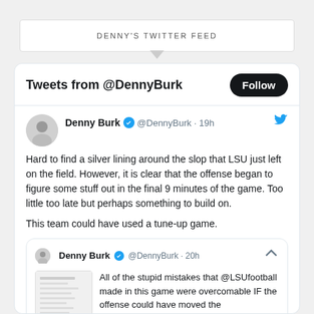DENNY'S TWITTER FEED
[Figure (screenshot): Twitter feed widget showing tweets from @DennyBurk. Main tweet reads: Hard to find a silver lining around the slop that LSU just left on the field. However, it is clear that the offense began to figure some stuff out in the final 9 minutes of the game. Too little too late but perhaps something to build on. This team could have used a tune-up game. A quoted tweet from @DennyBurk 20h earlier begins: All of the stupid mistakes that @LSUfootball made in this game were overcomable IF the offense could have moved the...]